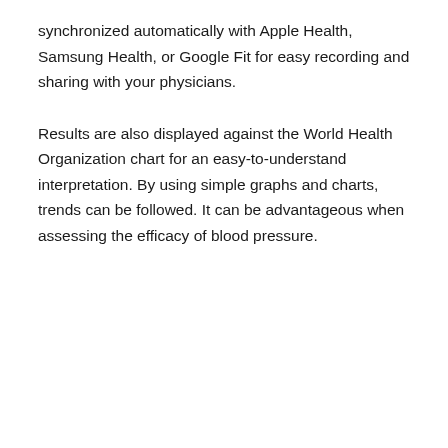synchronized automatically with Apple Health, Samsung Health, or Google Fit for easy recording and sharing with your physicians.
Results are also displayed against the World Health Organization chart for an easy-to-understand interpretation. By using simple graphs and charts, trends can be followed. It can be advantageous when assessing the efficacy of blood pressure.